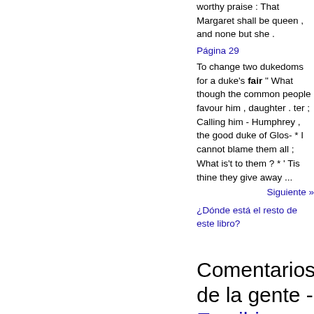worthy praise : That Margaret shall be queen , and none but she .
Página 29
To change two dukedoms for a duke's fair " What though the common people favour him , daughter . ter ; Calling him - Humphrey , the good duke of Glos- * I cannot blame them all ; What is't to them ? * ' Tis thine they give away ...
Siguiente »
¿Dónde está el resto de este libro?
Comentarios de la gente - Escribir un comentario